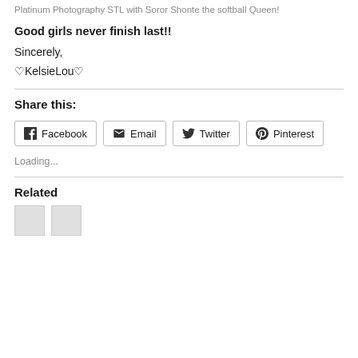Platinum Photography STL with Soror Shonte the softball Queen!
Good girls never finish last!!
Sincerely,
♡KelsieLou♡
Share this:
Facebook Email Twitter Pinterest
Loading...
Related